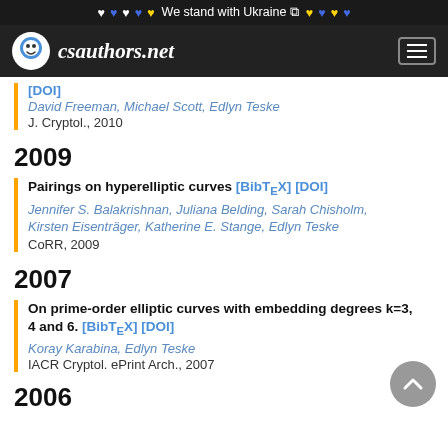We stand with Ukraine
csauthors.net
[DOI]
David Freeman, Michael Scott, Edlyn Teske
J. Cryptol., 2010
2009
Pairings on hyperelliptic curves [BibTeX] [DOI]
Jennifer S. Balakrishnan, Juliana Belding, Sarah Chisholm, Kirsten Eisenträger, Katherine E. Stange, Edlyn Teske
CoRR, 2009
2007
On prime-order elliptic curves with embedding degrees k=3, 4 and 6. [BibTeX] [DOI]
Koray Karabina, Edlyn Teske
IACR Cryptol. ePrint Arch., 2007
2006